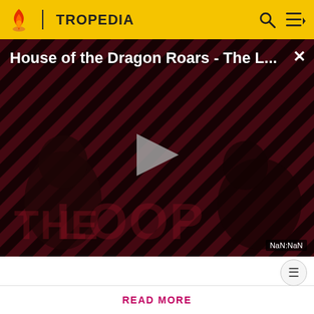TROPEDIA
[Figure (screenshot): Video player showing 'House of the Dragon Roars - The L...' with a play button overlay, diagonal stripe background pattern, and 'THE LOOP' text watermark. Time shows NaN:NaN.]
Aleister (Amelda in the original Japanese) from Yu-Gi-Oh!!, with the subversion that he actually has a poi
Before making a single edit, Tropedia EXPECTS our site policy and manual of style to be followed. Failure to do so may
READ MORE